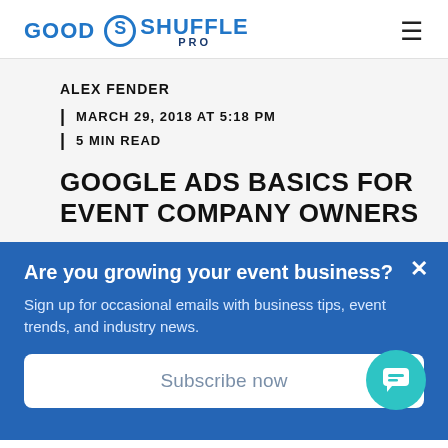GOOD SHUFFLE PRO
ALEX FENDER
| MARCH 29, 2018 AT 5:18 PM
| 5 MIN READ
GOOGLE ADS BASICS FOR EVENT COMPANY OWNERS
Are you growing your event business?
Sign up for occasional emails with business tips, event trends, and industry news.
Subscribe now